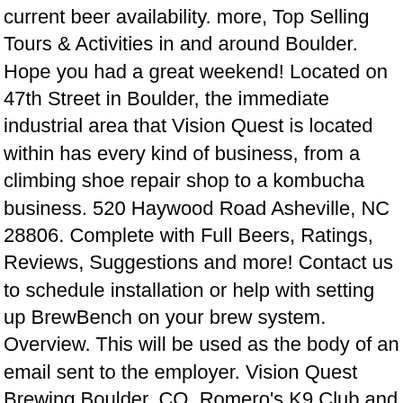current beer availability. more, Top Selling Tours & Activities in and around Boulder. Hope you had a great weekend! Located on 47th Street in Boulder, the immediate industrial area that Vision Quest is located within has every kind of business, from a climbing shoe repair shop to a kombucha business. 520 Haywood Road Asheville, NC 28806. Complete with Full Beers, Ratings, Reviews, Suggestions and more! Contact us to schedule installation or help with setting up BrewBench on your brew system. Overview. This will be used as the body of an email sent to the employer. Vision Quest Brewing Boulder, CO. Romero's K9 Club and Tap House Lafayette, CO . Brewery Details 2510 47th St. Unit A2 Boulder, CO 80301 303-578-0041 www.visionquestbrewing.com/ Discover Every Colorado Beer. Beers, ratings, reviews, styles and another beer geek info. So we pulled into what looked like an old car garage and found the most delicious beers, including great sour beers! Vision Quest Brewery in Boulder, CO. Looking forward to trying the other varieties. We look forward to seeing you! VisionQuest